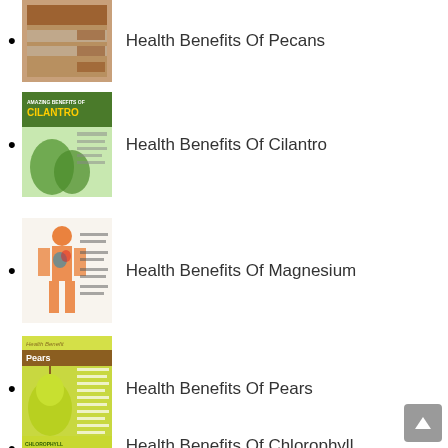Health Benefits Of Pecans
Health Benefits Of Cilantro
Health Benefits Of Magnesium
Health Benefits Of Pears
Health Benefits Of Chlorophyll